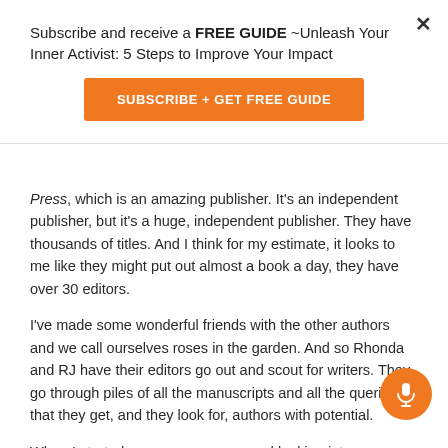Subscribe and receive a FREE GUIDE ~Unleash Your Inner Activist: 5 Steps to Improve Your Impact
SUBSCRIBE + GET FREE GUIDE
Press, which is an amazing publisher. It's an independent publisher, but it's a huge, independent publisher. They have thousands of titles. And I think for my estimate, it looks to me like they might put out almost a book a day, they have over 30 editors.
I've made some wonderful friends with the other authors and we call ourselves roses in the garden. And so Rhonda and RJ have their editors go out and scout for writers. They go through piles of all the manuscripts and all the queries that they get, and they look for, authors with potential.
When I started my query, process and looking into